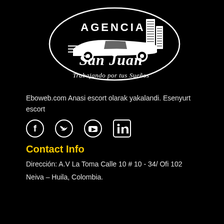[Figure (logo): Agencia San Juan logo with car and buildings illustration, tagline: Trabajando por tus Sueños]
Eboweb.com Anasi escort olarak yakalandi. Esenyurt escort
[Figure (infographic): Social media icons: Facebook, Twitter, YouTube, LinkedIn]
Contact Info
Dirección: A.V La Toma Calle 10 # 10 - 34/ Ofi 102
Neiva – Huila, Colombia.